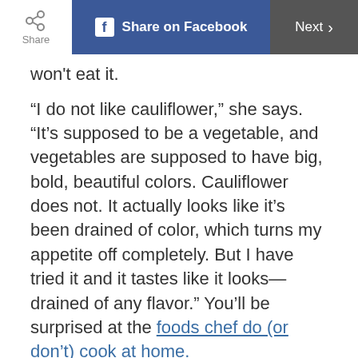Share | Share on Facebook | Next >
won't eat it.
“I do not like cauliflower,” she says. “It’s supposed to be a vegetable, and vegetables are supposed to have big, bold, beautiful colors. Cauliflower does not. It actually looks like it’s been drained of color, which turns my appetite off completely. But I have tried it and it tastes like it looks—drained of any flavor.” You’ll be surprised at the foods chef do (or don’t) cook at home.
ADVERTISEMENT